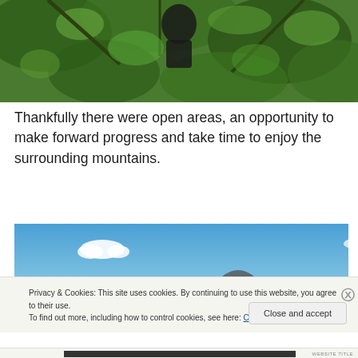[Figure (photo): A person among dense green bushes and trees, viewed from below looking up through foliage.]
Thankfully there were open areas, an opportunity to make forward progress and take time to enjoy the surrounding mountains.
[Figure (photo): Outdoor landscape showing blue sky with white clouds and a mountain silhouette at the bottom.]
Privacy & Cookies: This site uses cookies. By continuing to use this website, you agree to their use.
To find out more, including how to control cookies, see here: Cookie Policy
Close and accept